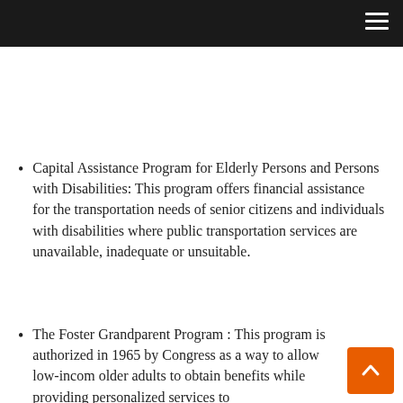Capital Assistance Program for Elderly Persons and Persons with Disabilities: This program offers financial assistance for the transportation needs of senior citizens and individuals with disabilities where public transportation services are unavailable, inadequate or unsuitable.
The Foster Grandparent Program : This program is authorized in 1965 by Congress as a way to allow low-income older adults to obtain benefits while providing personalized services to children with special needs.